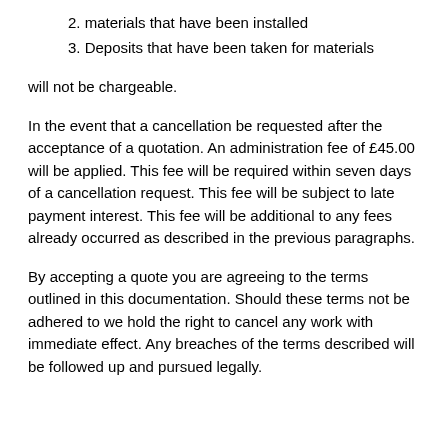2. materials that have been installed
3. Deposits that have been taken for materials
will not be chargeable.
In the event that a cancellation be requested after the acceptance of a quotation. An administration fee of £45.00 will be applied. This fee will be required within seven days of a cancellation request. This fee will be subject to late payment interest. This fee will be additional to any fees already occurred as described in the previous paragraphs.
By accepting a quote you are agreeing to the terms outlined in this documentation. Should these terms not be adhered to we hold the right to cancel any work with immediate effect. Any breaches of the terms described will be followed up and pursued legally.